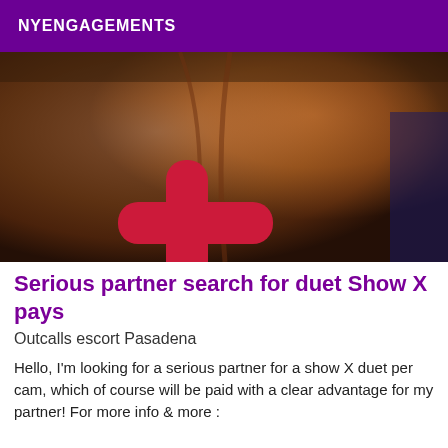NYENGAGEMENTS
[Figure (photo): Close-up photo with warm skin tones and a red plus/cross symbol overlaid on the lower left portion of the image]
Serious partner search for duet Show X pays
Outcalls escort Pasadena
Hello, I'm looking for a serious partner for a show X duet per cam, which of course will be paid with a clear advantage for my partner! For more info & more :